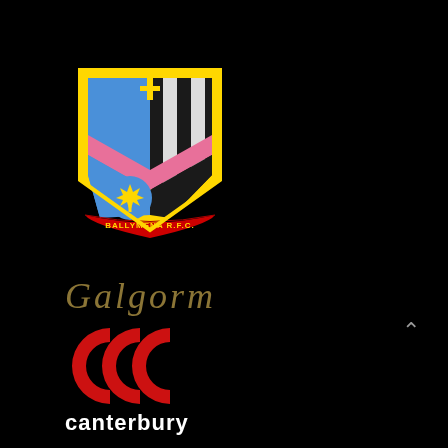[Figure (logo): Ballymena RFC crest/shield logo with blue, black, white and pink chevron design, maple leaf, and gold banner reading BALLYMENA R.F.C.]
[Figure (logo): GALGORM text logo in gold/bronze italic serif font on black background]
[Figure (logo): Canterbury CCC logo with three red overlapping C shapes and white 'canterbury' text below]